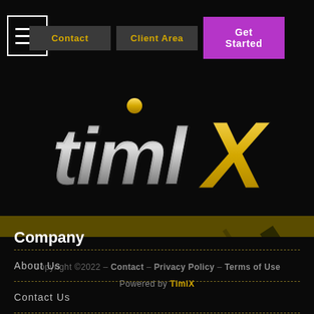[Figure (logo): Navigation bar with hamburger menu icon, Contact button, Client Area button, and Get Started button (purple)]
[Figure (logo): timlX logo — stylized italic silver text 'timl' with a gold dot over the i, and a large yellow/gold 'X', on black background]
Company
About Us
Contact Us
Copyright ©2022 - Contact - Privacy Policy - Terms of Use
Powered by TimlX